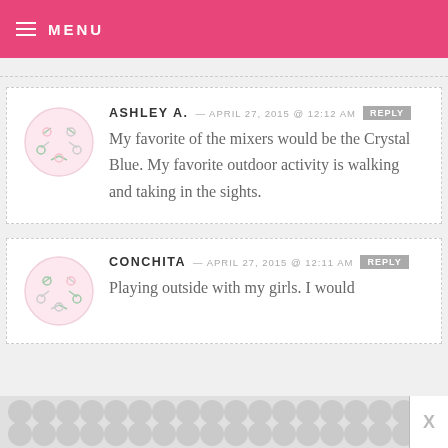MENU
ASHLEY A. — APRIL 27, 2015 @ 12:12 AM   REPLY
My favorite of the mixers would be the Crystal Blue. My favorite outdoor activity is walking and taking in the sights.
CONCHITA — APRIL 27, 2015 @ 12:11 AM   REPLY
Playing outside with my girls. I would